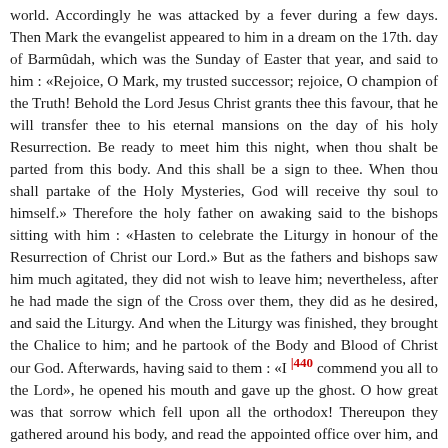world. Accordingly he was attacked by a fever during a few days. Then Mark the evangelist appeared to him in a dream on the 17th. day of Barmûdah, which was the Sunday of Easter that year, and said to him : «Rejoice, O Mark, my trusted successor; rejoice, O champion of the Truth! Behold the Lord Jesus Christ grants thee this favour, that he will transfer thee to his eternal mansions on the day of his holy Resurrection. Be ready to meet him this night, when thou shalt be parted from this body. And this shall be a sign to thee. When thou shall partake of the Holy Mysteries, God will receive thy soul to himself.» Therefore the holy father on awaking said to the bishops sitting with him : «Hasten to celebrate the Liturgy in honour of the Resurrection of Christ our Lord.» But as the fathers and bishops saw him much agitated, they did not wish to leave him; nevertheless, after he had made the sign of the Cross over them, they did as he desired, and said the Liturgy. And when the Liturgy was finished, they brought the Chalice to him; and he partook of the Body and Blood of Christ our God. Afterwards, having said to them : «I [440] commend you all to the Lord», he opened his mouth and gave up the ghost. O how great was that sorrow which fell upon all the orthodox! Thereupon they gathered around his body, and read the appointed office over him, and enshrouded him, and laid him in a wooden coffin, which they placed in the church of Nebrûwah, until God should permit its removal to Alexandria. Abba Mark had occupied the see twenty years and seventy days; and he died on the 22nd. of Barmûdah, in the year 525 of the Martyrs, ruling the holy Church. He wrote